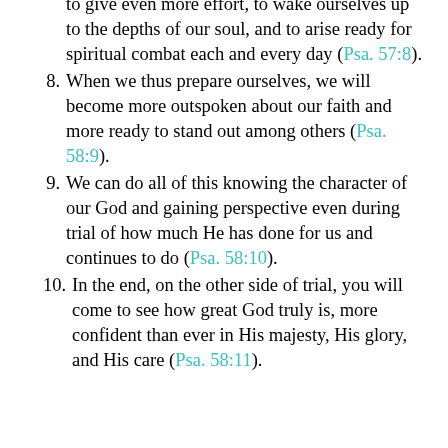to give even more effort, to wake ourselves up to the depths of our soul, and to arise ready for spiritual combat each and every day (Psa. 57:8).
8. When we thus prepare ourselves, we will become more outspoken about our faith and more ready to stand out among others (Psa. 58:9).
9. We can do all of this knowing the character of our God and gaining perspective even during trial of how much He has done for us and continues to do (Psa. 58:10).
10. In the end, on the other side of trial, you will come to see how great God truly is, more confident than ever in His majesty, His glory, and His care (Psa. 58:11).